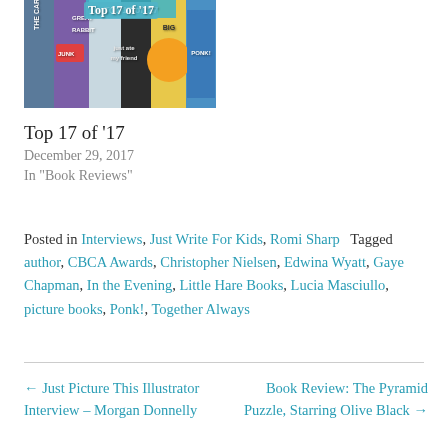[Figure (photo): Collage of book covers titled 'Top 17 of 17']
Top 17 of '17
December 29, 2017
In "Book Reviews"
Posted in Interviews, Just Write For Kids, Romi Sharp   Tagged author, CBCA Awards, Christopher Nielsen, Edwina Wyatt, Gaye Chapman, In the Evening, Little Hare Books, Lucia Masciullo, picture books, Ponk!, Together Always
← Just Picture This Illustrator Interview – Morgan Donnelly
Book Review: The Pyramid Puzzle, Starring Olive Black →